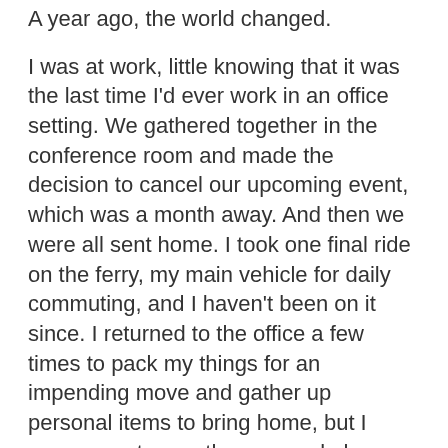A year ago, the world changed.
I was at work, little knowing that it was the last time I'd ever work in an office setting. We gathered together in the conference room and made the decision to cancel our upcoming event, which was a month away. And then we were all sent home. I took one final ride on the ferry, my main vehicle for daily commuting, and I haven't been on it since. I returned to the office a few times to pack my things for an impending move and gather up personal items to bring home, but I never spent more than a couple hours there again. Ditto for my business's new location.
Little did I know it would be the last time I worked in an office. The coming year would force me to focus on what I wanted to do with